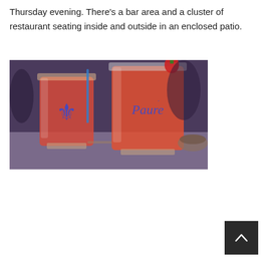Thursday evening. There's a bar area and a cluster of restaurant seating inside and outside in an enclosed patio.
[Figure (photo): Two cocktail glasses with red/orange drinks on a table. The left glass has a blue fleur-de-lis symbol and the right glass has a cursive blue logo that reads 'Paure' or similar. There appears to be a strawberry garnish on the right glass.]